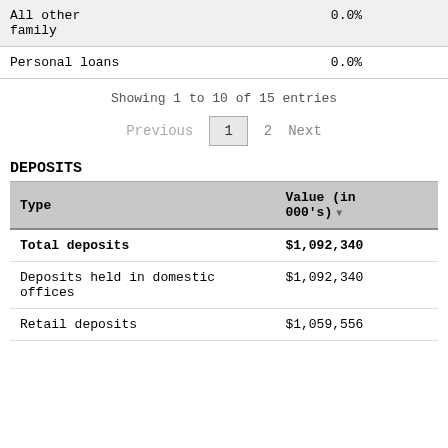| Type | Value (in 000's) |
| --- | --- |
| All other family | 0.0% |
| Personal loans | 0.0% |
Showing 1 to 10 of 15 entries
Previous  1  2  Next
DEPOSITS
| Type | Value (in 000's) |
| --- | --- |
| Total deposits | $1,092,340 |
| Deposits held in domestic offices | $1,092,340 |
| Retail deposits | $1,059,556 |